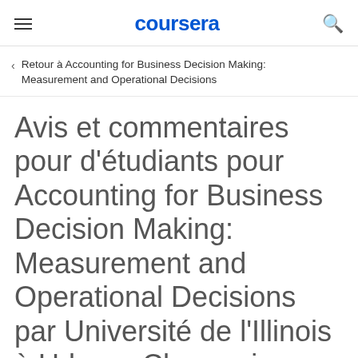coursera
Retour à Accounting for Business Decision Making: Measurement and Operational Decisions
Avis et commentaires pour d'étudiants pour Accounting for Business Decision Making: Measurement and Operational Decisions par Université de l'Illinois à Urbana-Champaign
S'inscrire gratuitement